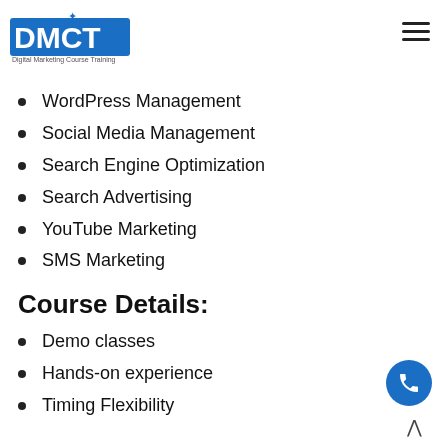DMCT Digital Marketing Course Training
WordPress Management
Social Media Management
Search Engine Optimization
Search Advertising
YouTube Marketing
SMS Marketing
Course Details:
Demo classes
Hands-on experience
Timing Flexibility